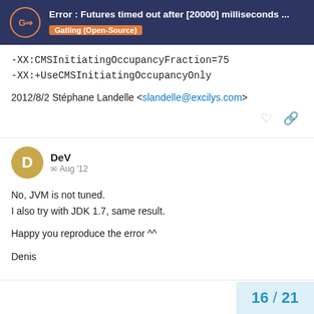Error : Futures timed out after [20000] milliseconds ... | Gatling (Open-Source)
-XX:CMSInitiatingOccupancyFraction=75
-XX:+UseCMSInitiatingOccupancyOnly

2012/8/2 Stéphane Landelle <slandelle@excilys.com>
DeV | Aug '12

No, JVM is not tuned.
I also try with JDK 1.7, same result.

Happy you reproduce the error ^^

Denis
16 / 21